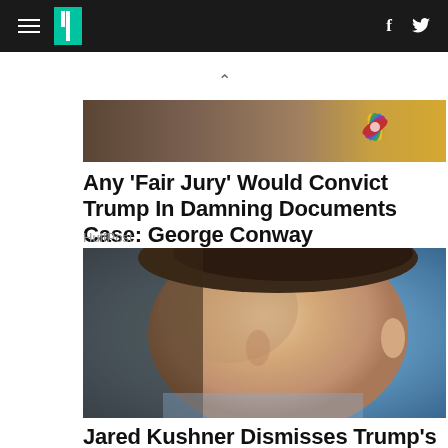HuffPost navigation header with hamburger menu, logo, Facebook and Twitter icons
[Figure (photo): Partial view of a person in a suit with NBC logo visible in the upper right corner of the image]
Any 'Fair Jury' Would Convict Trump In Damning Documents Case: George Conway
HuffPost
[Figure (photo): Close-up side profile photo of Jared Kushner looking upward, with a blue background]
Jared Kushner Dismisses Trump's Top-